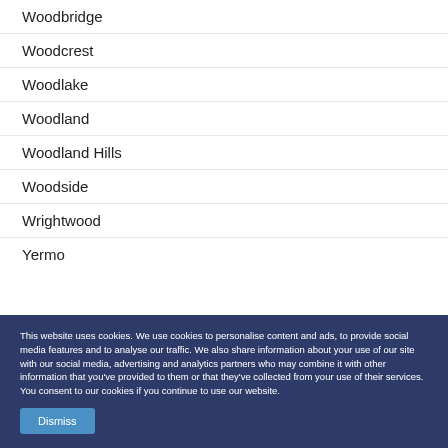Woodbridge
Woodcrest
Woodlake
Woodland
Woodland Hills
Woodside
Wrightwood
Yermo
This website uses cookies. We use cookies to personalise content and ads, to provide social media features and to analyse our traffic. We also share information about your use of our site with our social media, advertising and analytics partners who may combine it with other information that you've provided to them or that they've collected from your use of their services. You consent to our cookies if you continue to use our website.
Yucaipa Valley
Yucaipa/Calimesa